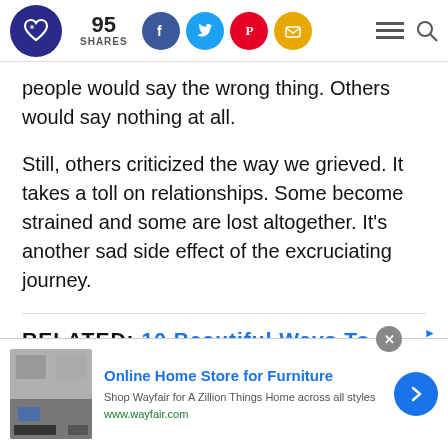Logo | 95 SHARES | Facebook | Twitter | Pinterest | Email | Menu | Search
people would say the wrong thing. Others would say nothing at all.

Still, others criticized the way we grieved. It takes a toll on relationships. Some become strained and some are lost altogether. It's another sad side effect of the excruciating journey.
RELATED: 10 Beautiful Ways To Rediscover Y...
[Figure (screenshot): Advertisement banner for Wayfair Online Home Store for Furniture, with image of furniture/appliances, 'Online Home Store for Furniture' headline in blue, description 'Shop Wayfair for A Zillion Things Home across all styles', URL www.wayfair.com, and a blue chevron arrow button.]